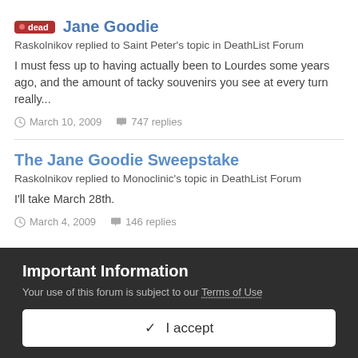Jane Goodie
Raskolnikov replied to Saint Peter's topic in DeathList Forum
I must fess up to having actually been to Lourdes some years ago, and the amount of tacky souvenirs you see at every turn really...
March 10, 2009   747 replies
The Jane Goodie Sweepstake
Raskolnikov replied to Monoclinic's topic in DeathList Forum
I'll take March 28th.
March 4, 2009   146 replies
Important Information
Your use of this forum is subject to our Terms of Use
✓  I accept